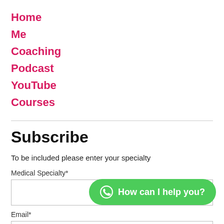Home
Me
Coaching
Podcast
YouTube
Courses
Subscribe
To be included please enter your specialty
Medical Specialty*
Email*
[Figure (other): Green WhatsApp chat button with circle icon and text 'How can I help you?']